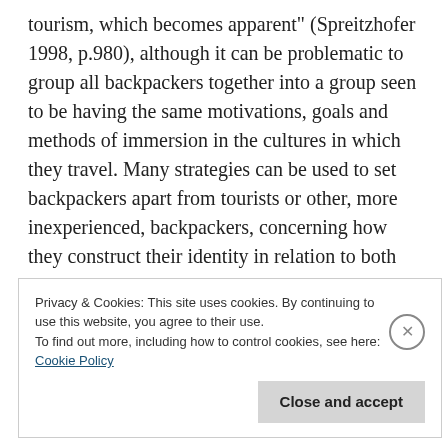tourism, which becomes apparent" (Spreitzhofer 1998, p.980), although it can be problematic to group all backpackers together into a group seen to be having the same motivations, goals and methods of immersion in the cultures in which they travel. Many strategies can be used to set backpackers apart from tourists or other, more inexperienced, backpackers, concerning how they construct their identity in relation to both locals and other travellers.
Privacy & Cookies: This site uses cookies. By continuing to use this website, you agree to their use.
To find out more, including how to control cookies, see here: Cookie Policy